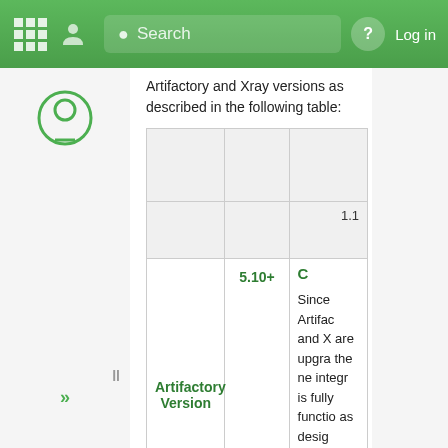Mode Search | Log in
Artifactory and Xray versions as described in the following table:
| Artifactory Version | 5.10+ | C... |
| --- | --- | --- |
|  |  | 1.1 |
| Artifactory Version | 5.10+ | Since Artifac and X are upgra the ne integr is fully functio as desig |